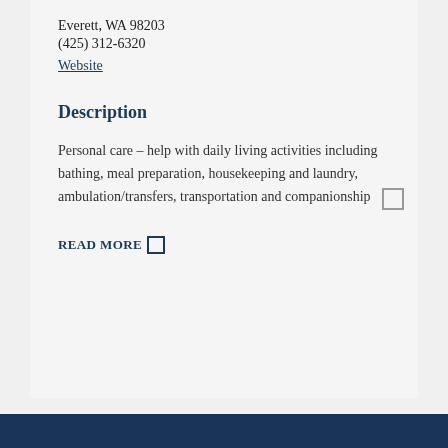Everett, WA 98203
(425) 312-6320
Website
Description
Personal care – help with daily living activities including bathing, meal preparation, housekeeping and laundry, ambulation/transfers, transportation and companionship
READ MORE